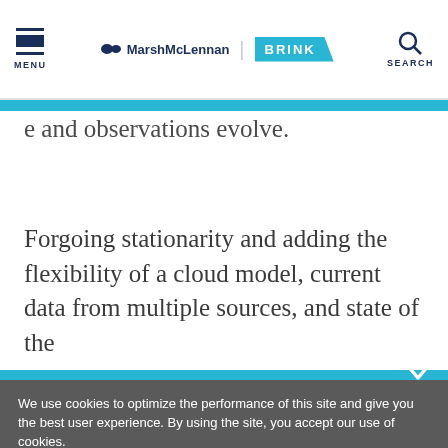MENU | MarshMcLennan BRINK | SEARCH
e and observations evolve.
Forgoing stationarity and adding the flexibility of a cloud model, current data from multiple sources, and state of the
We use cookies to optimize the performance of this site and give you the best user experience. By using the site, you accept our use of cookies.
Okay
Manage Cookies